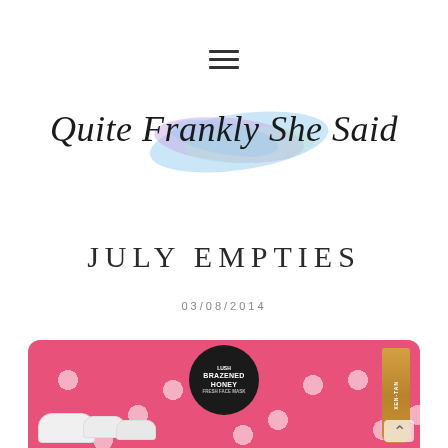☰ (hamburger menu icon)
[Figure (logo): Blog logo with watercolor splash background in blue/purple/pink hues and cursive text reading 'Quite Frankly She Said']
JULY EMPTIES
03/08/2014
[Figure (photo): Flat lay photo of beauty empties on a pink polka dot background, including a Lush Brazened Honey Fresh Face Mask pot, white tubes (possibly REN and other brands), and a Xen-Tan self-tanner tube]